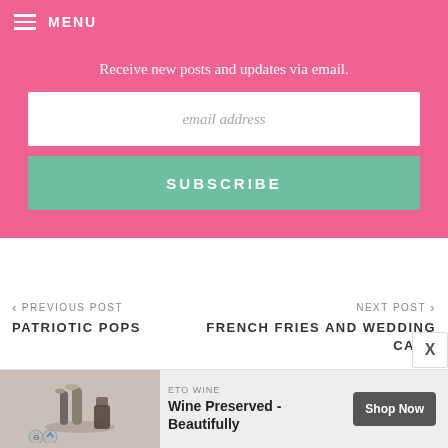MENU
Receive new posts and updates via email.
email address
SUBSCRIBE
PREVIOUS POST
PATRIOTIC POPS
NEXT POST
FRENCH FRIES AND WEDDING CAKE
[Figure (screenshot): Advertisement banner: ETO WINE - Wine Preserved - Beautifully, with Shop Now button and wine bottle image]